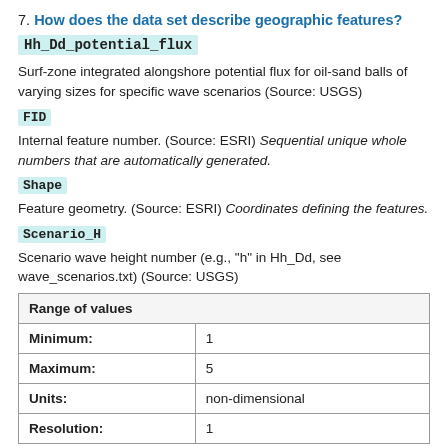7. How does the data set describe geographic features?
Hh_Dd_potential_flux
Surf-zone integrated alongshore potential flux for oil-sand balls of varying sizes for specific wave scenarios (Source: USGS)
FID
Internal feature number. (Source: ESRI) Sequential unique whole numbers that are automatically generated.
Shape
Feature geometry. (Source: ESRI) Coordinates defining the features.
Scenario_H
Scenario wave height number (e.g., "h" in Hh_Dd, see wave_scenarios.txt) (Source: USGS)
| Range of values |  |
| --- | --- |
| Minimum: | 1 |
| Maximum: | 5 |
| Units: | non-dimensional |
| Resolution: | 1 |